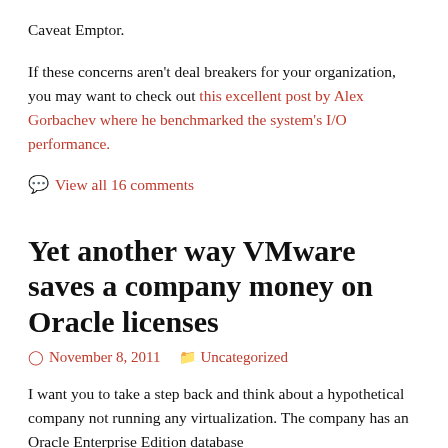Caveat Emptor.
If these concerns aren't deal breakers for your organization, you may want to check out this excellent post by Alex Gorbachev where he benchmarked the system's I/O performance.
💬 View all 16 comments
Yet another way VMware saves a company money on Oracle licenses
November 8, 2011   Uncategorized
I want you to take a step back and think about a hypothetical company not running any virtualization. The company has an Oracle Enterprise Edition database